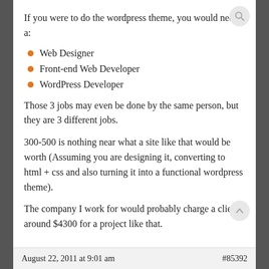If you were to do the wordpress theme, you would need a:
Web Designer
Front-end Web Developer
WordPress Developer
Those 3 jobs may even be done by the same person, but they are 3 different jobs.
300-500 is nothing near what a site like that would be worth (Assuming you are designing it, converting to html + css and also turning it into a functional wordpress theme).
The company I work for would probably charge a client around $4300 for a project like that.
August 22, 2011 at 9:01 am   #85392